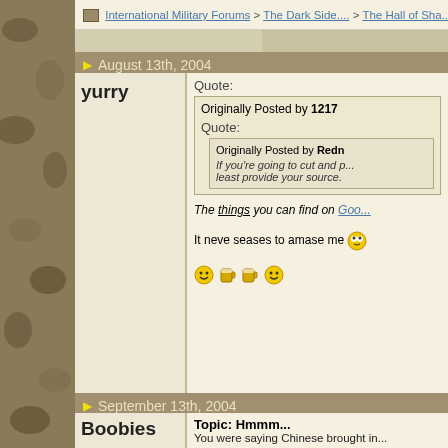International Military Forums > The Dark Side.... > The Hall of Sha...
August 13th, 2004
yurry
Quote: Originally Posted by 1217 Quote: Originally Posted by Redne If you're going to cut and p... least provide your source. The things you can find on Goo... It neve seases to amase me
September 13th, 2004
Boobies
Topic: Hmmm... You were saying Chinese brought in...